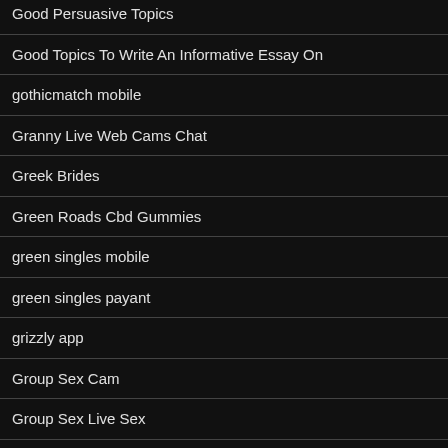Good Persuasive Topics
Good Topics To Write An Informative Essay On
gothicmatch mobile
Granny Live Web Cams Chat
Greek Brides
Green Roads Cbd Gummies
green singles mobile
green singles payant
grizzly app
Group Sex Cam
Group Sex Live Sex
Group Sex Live Web Cam Porn
growlr ga hier nu door deze link